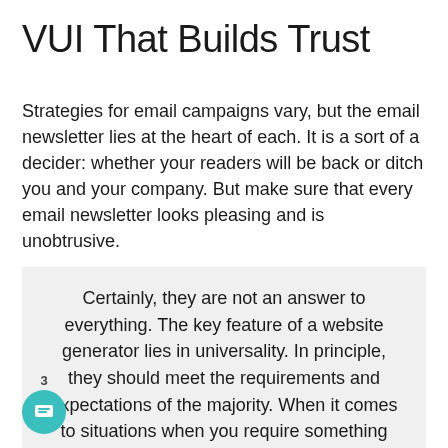VUI That Builds Trust
Strategies for email campaigns vary, but the email newsletter lies at the heart of each. It is a sort of a decider: whether your readers will be back or ditch you and your company. But make sure that every email newsletter looks pleasing and is unobtrusive.
Certainly, they are not an answer to everything. The key feature of a website generator lies in universality. In principle, they should meet the requirements and expectations of the majority. When it comes to situations when you require something special or unique, this isn't the option for you.